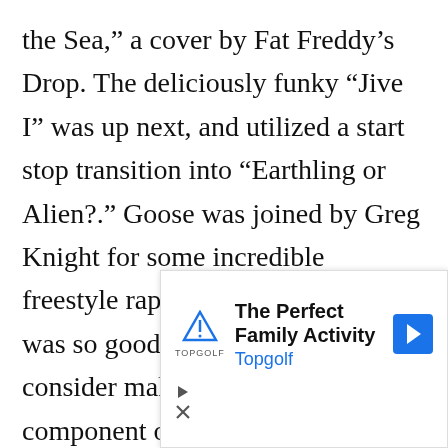the Sea,” a cover by Fat Freddy’s Drop. The deliciously funky “Jive I” was up next, and utilized a start stop transition into “Earthing or Alien?.” Goose was joined by Greg Knight for some incredible freestyle rapping during the song. It was so good, that this band should consider making this a permanent component of “Earthing or Alien?.” The jam vehicle “Tumble” followed, and included another nod to the Grateful Dead with a “Shakedown Street” tease. “Tumble” segued into a firey “Factory Fiction,” which was also sound
[Figure (other): Advertisement banner for Topgolf: 'The Perfect Family Activity' with Topgolf logo and navigation arrow icon, plus close/skip controls.]